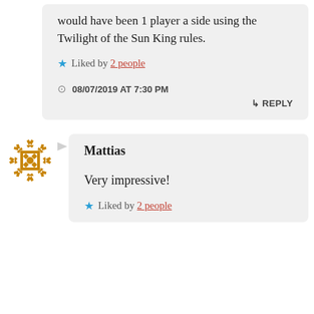would have been 1 player a side using the Twilight of the Sun King rules.
★ Liked by 2 people
08/07/2019 AT 7:30 PM
↳ REPLY
[Figure (illustration): Decorative geometric/floral avatar icon in brown/gold color]
Mattias
Very impressive!
★ Liked by 2 people